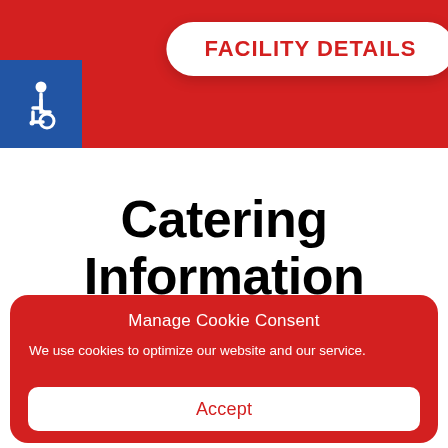FACILITY DETAILS
[Figure (illustration): Wheelchair accessibility icon — white figure in wheelchair on blue background square]
Catering Information
Manage Cookie Consent
We use cookies to optimize our website and our service.
Accept